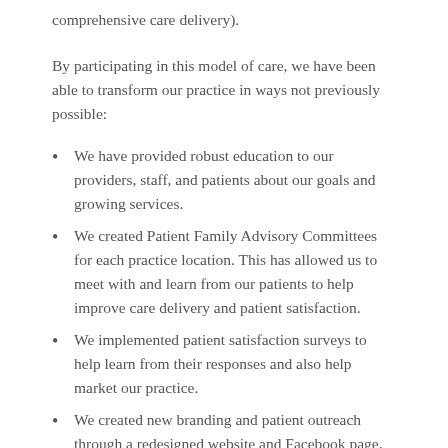comprehensive care delivery).
By participating in this model of care, we have been able to transform our practice in ways not previously possible:
We have provided robust education to our providers, staff, and patients about our goals and growing services.
We created Patient Family Advisory Committees for each practice location. This has allowed us to meet with and learn from our patients to help improve care delivery and patient satisfaction.
We implemented patient satisfaction surveys to help learn from their responses and also help market our practice.
We created new branding and patient outreach through a redesigned website and Facebook page,